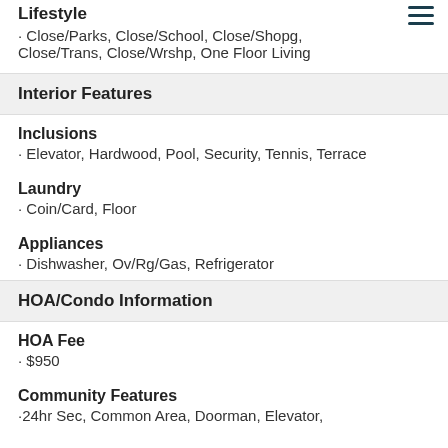Lifestyle
· Close/Parks, Close/School, Close/Shopg, Close/Trans, Close/Wrshp, One Floor Living
Interior Features
Inclusions
· Elevator, Hardwood, Pool, Security, Tennis, Terrace
Laundry
· Coin/Card, Floor
Appliances
· Dishwasher, Ov/Rg/Gas, Refrigerator
HOA/Condo Information
HOA Fee
· $950
Community Features
·24hr Sec, Common Area, Doorman, Elevator,